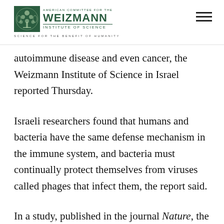[Figure (logo): American Committee for the Weizmann Institute of Science logo with green emblem and text, and tagline 'Science for the Benefit of Humanity']
autoimmune disease and even cancer, the Weizmann Institute of Science in Israel reported Thursday.
Israeli researchers found that humans and bacteria have the same defense mechanism in the immune system, and bacteria must continually protect themselves from viruses called phages that infect them, the report said.
In a study, published in the journal Nature, the researchers examined one of dozens of the bacterial